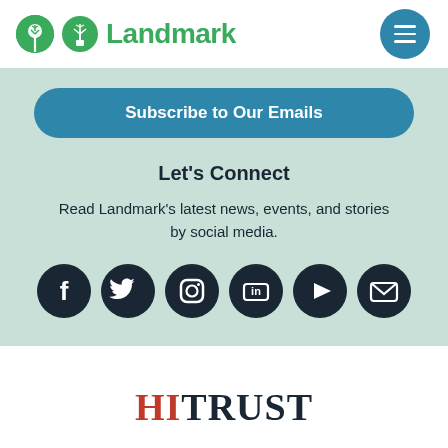Landmark
Subscribe to Our Emails
Let's Connect
Read Landmark's latest news, events, and stories by social media.
[Figure (illustration): Social media icons: Facebook, Twitter, Instagram, LinkedIn, YouTube, Email]
[Figure (logo): HITRUST logo — HI in red, TRUST in dark navy, serif bold font]